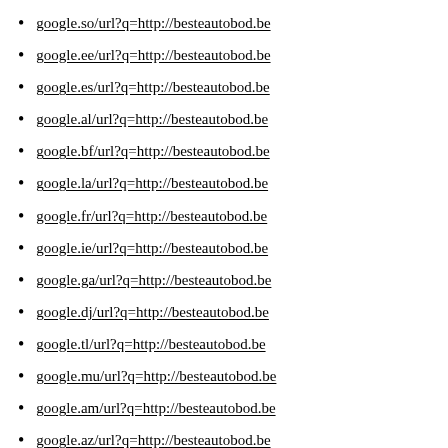google.so/url?q=http://besteautobod.be
google.ee/url?q=http://besteautobod.be
google.es/url?q=http://besteautobod.be
google.al/url?q=http://besteautobod.be
google.bf/url?q=http://besteautobod.be
google.la/url?q=http://besteautobod.be
google.fr/url?q=http://besteautobod.be
google.ie/url?q=http://besteautobod.be
google.ga/url?q=http://besteautobod.be
google.dj/url?q=http://besteautobod.be
google.tl/url?q=http://besteautobod.be
google.mu/url?q=http://besteautobod.be
google.am/url?q=http://besteautobod.be
google.az/url?q=http://besteautobod.be
google.mg/url?q=http://besteautobod.be
google.ms/url?q=http://besteautobod.be
google.td/url?q=http://besteautobod.be
google.cd/url?q=http://besteautobod.be
google.tm/url?q=http://besteautobod.be